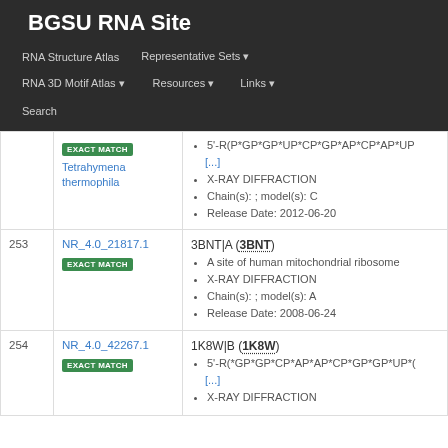BGSU RNA Site
RNA Structure Atlas
Representative Sets
RNA 3D Motif Atlas
Resources
Links
Search
| # | ID / Match | Entry Details |
| --- | --- | --- |
|  | NR_4.0_... EXACT MATCH Tetrahymena thermophila | 5'-R(P*GP*GP*UP*CP*GP*AP*CP*AP*UP [...] • X-RAY DIFFRACTION • Chain(s): ; model(s): C • Release Date: 2012-06-20 |
| 253 | NR_4.0_21817.1 EXACT MATCH | 3BNT|A (3BNT) • A site of human mitochondrial ribosome • X-RAY DIFFRACTION • Chain(s): ; model(s): A • Release Date: 2008-06-24 |
| 254 | NR_4.0_42267.1 EXACT MATCH | 1K8W|B (1K8W) • 5'-R(*GP*GP*CP*AP*AP*CP*GP*GP*UP*( [...] • X-RAY DIFFRACTION |